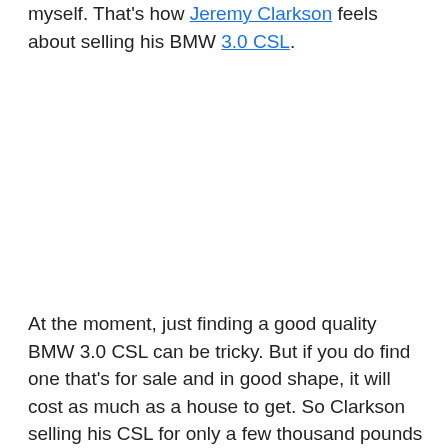myself. That's how Jeremy Clarkson feels about selling his BMW 3.0 CSL.
At the moment, just finding a good quality BMW 3.0 CSL can be tricky. But if you do find one that's for sale and in good shape, it will cost as much as a house to get. So Clarkson selling his CSL for only a few thousand pounds was, in his words, “idiotic”.